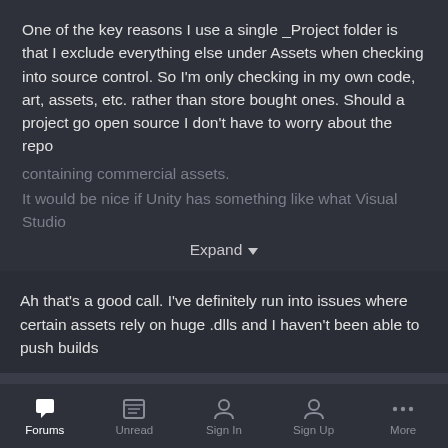One of the key reasons I use a single _Project folder is that I exclude everything else under Assets when checking into source control. So I'm only checking in my own code, art, assets, etc. rather than store bought ones. Should a project go open source I don't have to worry about the repo containing commercial assets.
It would be nice if Unity has something like what Visual Studio
Expand
Ah that's a good call. I've definitely run into issues where certain assets rely on huge .dlls and I haven't been able to push builds
Bil Simser
Posted January 3
If you're using git as your source control then make sure you install
Forums  Unread  Sign In  Sign Up  More